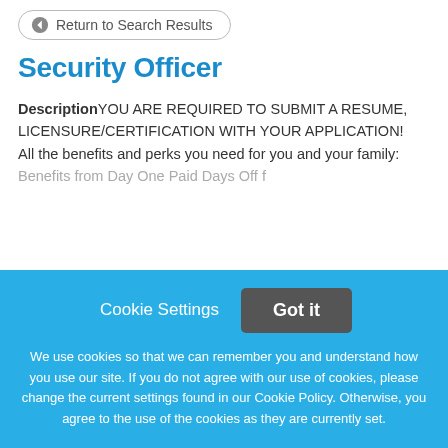← Return to Search Results
Security Officer
DescriptionYOU ARE REQUIRED TO SUBMIT A RESUME, LICENSURE/CERTIFICATION WITH YOUR APPLICATION! All the benefits and perks you need for you and your family: Benefits from Day One Paid Days Off f
This job listing is no longer active.
Cookie Settings
Got it
We use cookies so that we can remember you and understand how you use our site. If you do not agree with our use of cookies, please change the current settings found in our Cookie Policy. Otherwise, you agree to the use of the cookies as they are currently set.